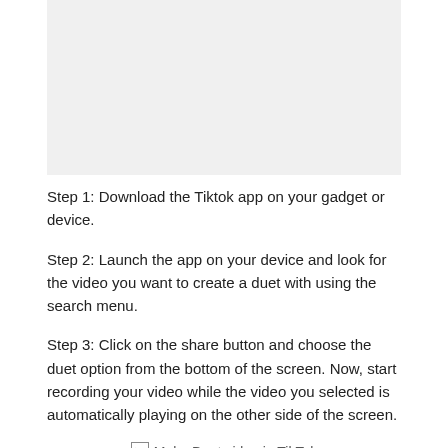[Figure (photo): Gray placeholder image area at the top of the page]
Step 1: Download the Tiktok app on your gadget or device.
Step 2: Launch the app on your device and look for the video you want to create a duet with using the search menu.
Step 3: Click on the share button and choose the duet option from the bottom of the screen. Now, start recording your video while the video you selected is automatically playing on the other side of the screen.
[Figure (screenshot): Make Duet video in TikTok — inline image with alt text label]
Step 4: You can now modify your videos either by adding special effects. Or by interesting stickers available in the